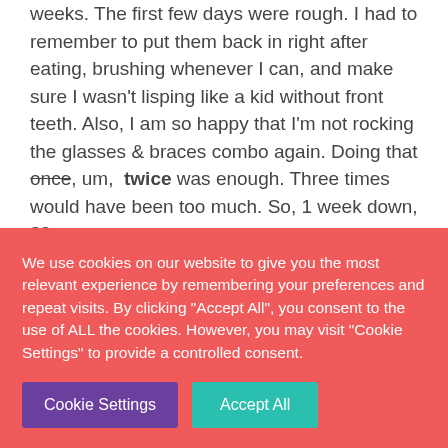weeks. The first few days were rough. I had to remember to put them back in right after eating, brushing whenever I can, and make sure I wasn't lisping like a kid without front teeth. Also, I am so happy that I'm not rocking the glasses & braces combo again. Doing that once, um, twice was enough. Three times would have been too much. So, 1 week down, 39 to go.
2. H ran his first triathlon of the season last Saturday, beating last year's time on the
We use cookies on our website to give you the most relevant experience by remembering your preferences and repeat visits. By clicking "Accept All", you consent to the use of ALL the cookies. However, you may visit "Cookie Settings" to provide a controlled consent.